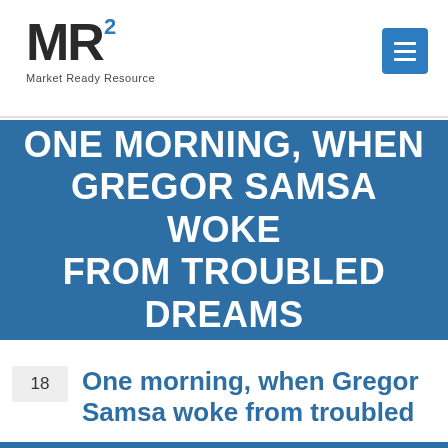[Figure (logo): MR squared logo with text 'Market Ready Resource' and a blue hamburger menu button]
ONE MORNING, WHEN GREGOR SAMSA WOKE FROM TROUBLED DREAMS
18  One morning, when Gregor Samsa woke from troubled dreams